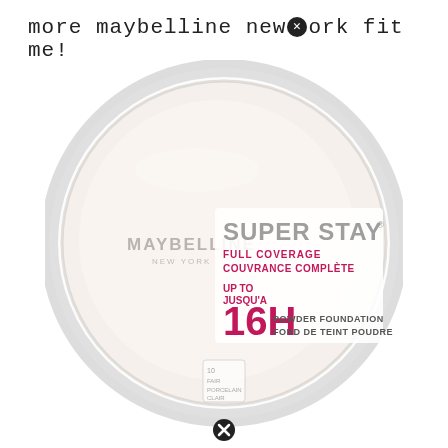more maybelline newⓧork fit me!
[Figure (photo): Maybelline New York Super Stay Full Coverage Couvrance Complète UP TO JUSQU'A 16H Powder Foundation Fond de Teint Poudre compact in a round transparent plastic case, shade 10, fair/porcelain/porcellana/clair, viewed from the front/top.]
[Figure (other): Close/dismiss button (circled X) at the bottom center of the page.]